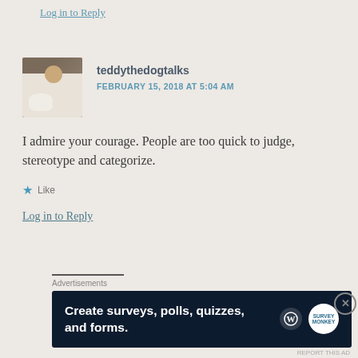Log in to Reply
teddythedogtalks
FEBRUARY 15, 2018 AT 5:04 AM
[Figure (photo): Avatar photo of a woman with a white fluffy dog]
I admire your courage. People are too quick to judge, stereotype and categorize.
Like
Log in to Reply
Advertisements
[Figure (infographic): Advertisement banner: Create surveys, polls, quizzes, and forms. Dark navy background with WordPress and SurveyMonkey logos.]